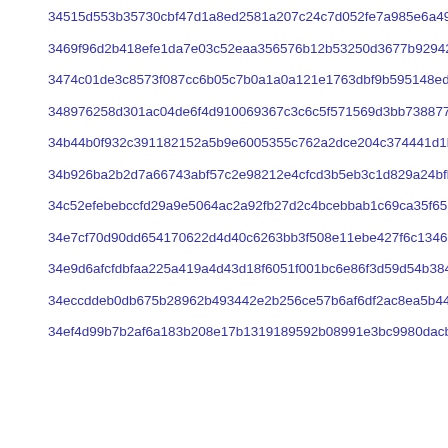34515d553b35730cbf47d1a8ed2581a207c24c7d052fe7a985e6a494b3622
3469f96d2b418efe1da7e03c52eaa356576b12b53250d3677b92942adbdde
3474c01de3c8573f087cc6b05c7b0a1a0a121e1763dbf9b595148edc1365d
348976258d301ac04de6f4d910069367c3c6c5f571569d3bb7388770ebf00
34b44b0f932c391182152a5b9e6005355c762a2dce204c374441d1b65736d
34b926ba2b2d7a66743abf57c2e98212e4cfcd3b5eb3c1d829a24bfbfe3a1
34c52efebebccfd29a9e5064ac2a92fb27d2c4bcebbab1c69ca35f65b58c6
34e7cf70d90dd654170622d4d40c6263bb3f508e11ebe427f6c1346e667e3
34e9d6afcfdbfaa225a419a4d43d18f6051f001bc6e86f3d59d54b38435e7
34eccddeb0db675b28962b493442e2b256ce57b6af6df2ac8ea5b4486453c
34ef4d99b7b2af6a183b208e17b1319189592b08991e3bc9980dacb1e654a